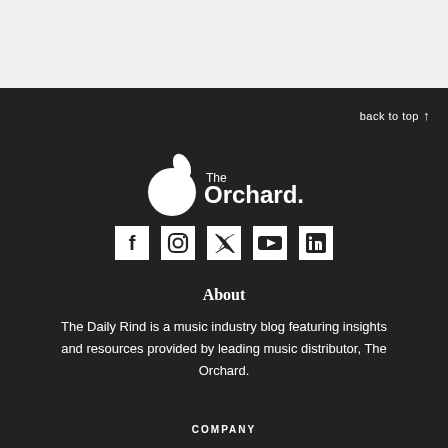[Figure (logo): The Orchard logo — white circle with leaf on top and text 'The Orchard.']
[Figure (illustration): Social media icons: Facebook, Instagram, Twitter, YouTube, LinkedIn — all white on dark background]
back to top ↑
About
The Daily Rind is a music industry blog featuring insights and resources provided by leading music distributor, The Orchard.
COMPANY